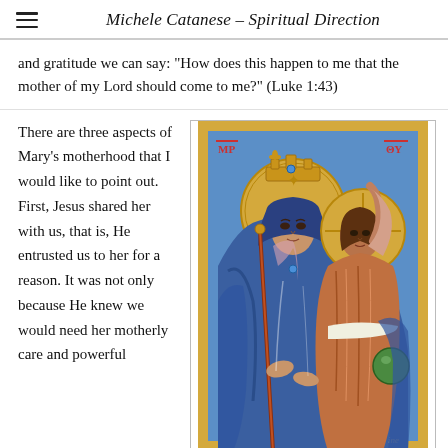Michele Catanese – Spiritual Direction
and gratitude we can say: "How does this happen to me that the mother of my Lord should come to me?" (Luke 1:43)
There are three aspects of Mary's motherhood that I would like to point out. First, Jesus shared her with us, that is, He entrusted us to her for a reason. It was not only because He knew we would need her motherly care and powerful
[Figure (illustration): Orthodox/Byzantine style icon depicting the Virgin Mary (Theotokos) wearing a blue mantle and crown, with the child Jesus beside her. Both have golden halos. Jesus holds a green orb. The icon has a golden border with blue background. Greek letters are visible in the corners.]